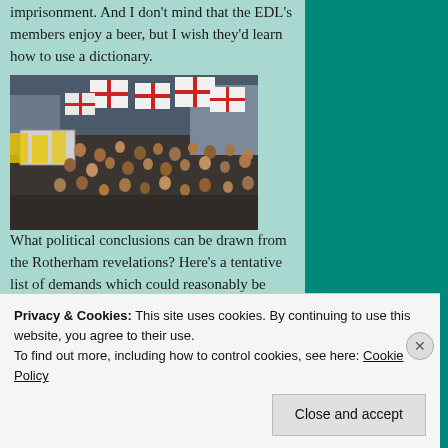imprisonment. And I don't mind that the EDL's members enjoy a beer, but I wish they'd learn how to use a dictionary.
[Figure (photo): Large protest crowd holding St George's Cross flags and banners, with police in high-visibility jackets visible]
What political conclusions can be drawn from the Rotherham revelations? Here's a tentative list of demands which could reasonably be made of the authorities:
scrap all laws against free speech
Privacy & Cookies: This site uses cookies. By continuing to use this website, you agree to their use. To find out more, including how to control cookies, see here: Cookie Policy
Close and accept